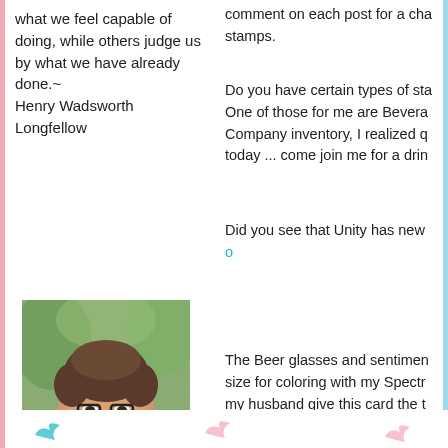what we feel capable of doing, while others judge us by what we have already done.~ Henry Wadsworth Longfellow
comment on each post for a chance to win stamps.
Do you have certain types of stamps? One of those for me are Bevera Company inventory, I realized q today ... come join me for a drin
Did you see that Unity has new Snowdrop White Paper Glaze o
[Figure (photo): Portrait photo of a smiling woman with short dark hair and glasses, outdoors with green foliage background]
Email Me
The Beer glasses and sentimen size for coloring with my Spectr my husband give this card the t
It's Stencil Fun at the Simon Sa